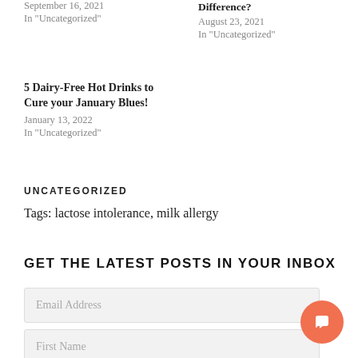September 16, 2021
In "Uncategorized"
Difference?
August 23, 2021
In "Uncategorized"
5 Dairy-Free Hot Drinks to Cure your January Blues!
January 13, 2022
In "Uncategorized"
UNCATEGORIZED
Tags: lactose intolerance, milk allergy
GET THE LATEST POSTS IN YOUR INBOX
Email Address
First Name